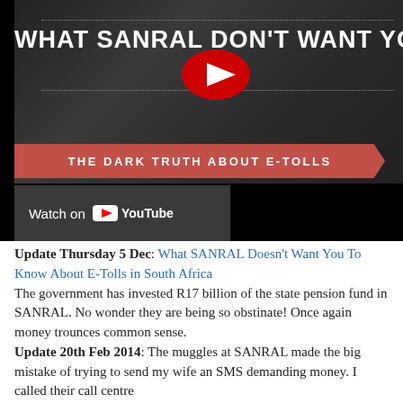[Figure (screenshot): YouTube video thumbnail showing 'WHAT SANRAL DON'T WANT YOU TO KNOW' with a red play button, a red ribbon banner reading 'THE DARK TRUTH ABOUT E-TOLLS', and a 'Watch on YouTube' bar at the bottom left.]
Update Thursday 5 Dec: What SANRAL Doesn't Want You To Know About E-Tolls in South Africa The government has invested R17 billion of the state pension fund in SANRAL. No wonder they are being so obstinate! Once again money trounces common sense. Update 20th Feb 2014: The muggles at SANRAL made the big mistake of trying to send my wife an SMS demanding money. I called their call centre